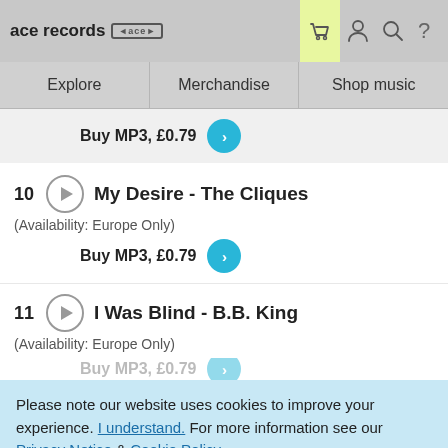ace records [ace logo] | basket | user | search | help
Explore | Merchandise | Shop music
Buy MP3, £0.79
10  My Desire - The Cliques
(Availability: Europe Only)
Buy MP3, £0.79
11  I Was Blind - B.B. King
(Availability: Europe Only)
Buy MP3, £0.79
Please note our website uses cookies to improve your experience. I understand. For more information see our Privacy Notice & Cookie Policy.